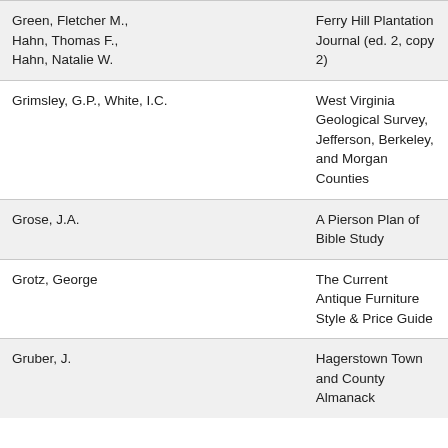| Green, Fletcher M., Hahn, Thomas F., Hahn, Natalie W. |  | Ferry Hill Plantation Journal (ed. 2, copy 2) |
| Grimsley, G.P., White, I.C. |  | West Virginia Geological Survey, Jefferson, Berkeley, and Morgan Counties |
| Grose, J.A. |  | A Pierson Plan of Bible Study |
| Grotz, George |  | The Current Antique Furniture Style & Price Guide |
| Gruber, J. |  | Hagerstown Town and County Almanack |